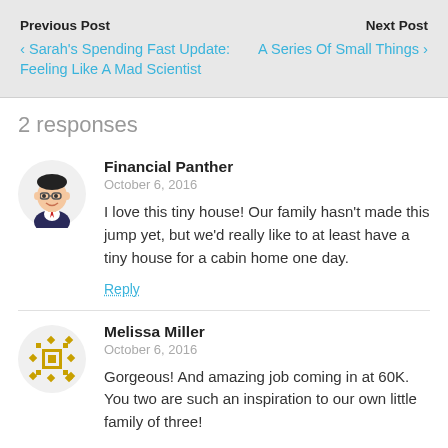Previous Post | Next Post
‹ Sarah's Spending Fast Update: Feeling Like A Mad Scientist
A Series Of Small Things ›
2 responses
Financial Panther
October 6, 2016
I love this tiny house! Our family hasn't made this jump yet, but we'd really like to at least have a tiny house for a cabin home one day.
Reply
Melissa Miller
October 6, 2016
Gorgeous! And amazing job coming in at 60K. You two are such an inspiration to our own little family of three!